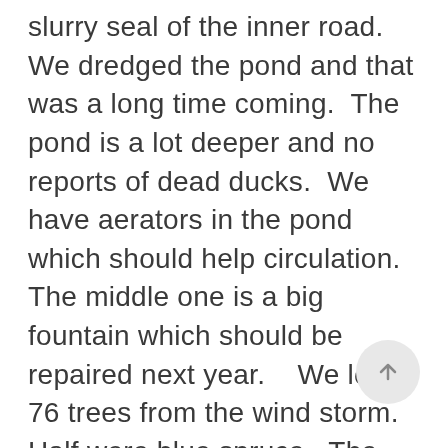slurry seal of the inner road.  We dredged the pond and that was a long time coming.  The pond is a lot deeper and no reports of dead ducks.  We have aerators in the pond which should help circulation.  The middle one is a big fountain which should be repaired next year.   We lost 76 trees from the wind storm.  Half were blue spruce.  The Blue Spruce trees are covered by insurance which will replaced by small trees unfortunately.  Also during the wind storm we lost some roofing on a pavilion   The original roof was copper so we had copper blow off.  We took that to the recycling center and it was able to pay for a new roof